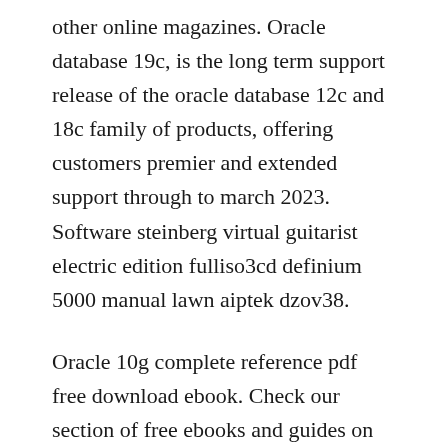other online magazines. Oracle database 19c, is the long term support release of the oracle database 12c and 18c family of products, offering customers premier and extended support through to march 2023. Software steinberg virtual guitarist electric edition fulliso3cd definium 5000 manual lawn aiptek dzov38.
Oracle 10g complete reference pdf free download ebook. Check our section of free ebooks and guides on oracle now. A complete free tutorial for download about oracle